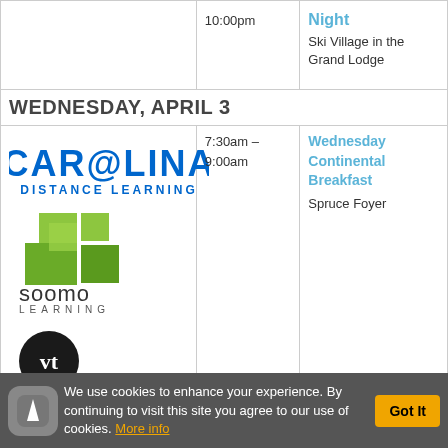| Sponsor | Time | Event |
| --- | --- | --- |
|  | 10:00pm | Night
Ski Village in the Grand Lodge |
| WEDNESDAY, APRIL 3 |  |  |
| [Carolina Distance Learning logo]
[Soomo Learning logo]
[VT logo] | 7:30am – 9:00am | Wednesday Continental Breakfast
Spruce Foyer |
We use cookies to enhance your experience. By continuing to visit this site you agree to our use of cookies. More info  Got It